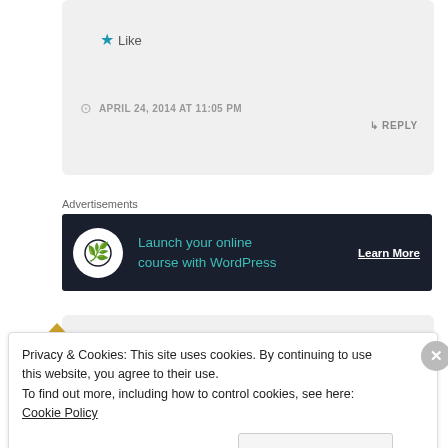[Figure (other): Like button with star icon inside a comment card]
APRIL 24, 2014 AT 11:05 PM
REPLY
Advertisements
[Figure (other): Advertisement banner: Launch your online course with WordPress — Learn More]
[Figure (other): User avatar with decorative gold geometric logo for commenter Ben]
Ben
Privacy & Cookies: This site uses cookies. By continuing to use this website, you agree to their use.
To find out more, including how to control cookies, see here: Cookie Policy
Close and accept